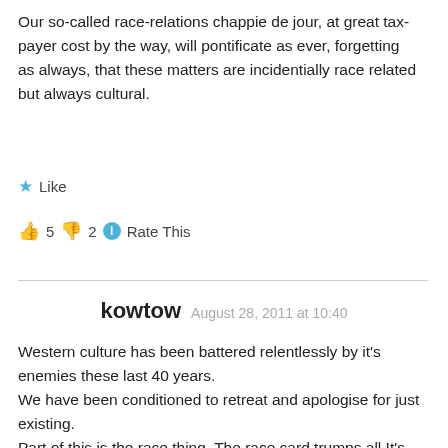Our so-called race-relations chappie de jour, at great tax-payer cost by the way, will pontificate as ever, forgetting as always, that these matters are incidentially race related but always cultural.
★ Like
👍 5  👎 2  ℹ Rate This
kowtow  August 28, 2011 at 10:40
Western culture has been battered relentlessly by it's enemies these last 40 years.
We have been conditioned to retreat and apologise for just existing.
Part of this is the race thing. The race card trumps all.It's even legislated.
The bullies,and this thug is an obvious one,are quick to exercise their power and voila ,instant results.